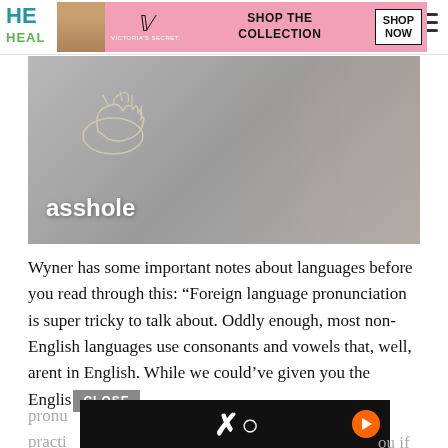HE... HEAL...
[Figure (photo): Advertisement banner: Victoria's Secret model with VS logo, 'SHOP THE COLLECTION', 'SHOP NOW' button on pink background]
[Figure (photo): Woman demonstrating ASL sign language gesture with hand illustration showing the sign for 'asshole'. Text overlay reads 'asshole'.]
Wyner has some important notes about languages before you read through this: “Foreign language pronunciation is super tricky to talk about. Oddly enough, most non-English languages use consonants and vowels that, well, arent in English. While we could’ve given you the Englis... pronu... practi... ou if